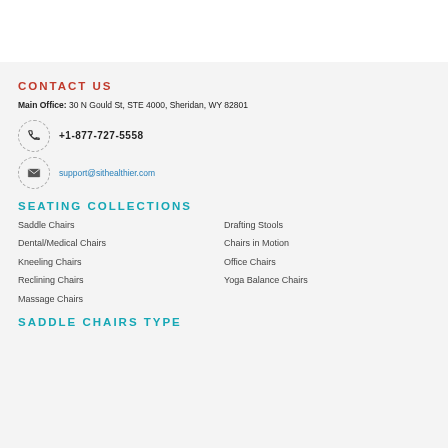CONTACT US
Main Office: 30 N Gould St, STE 4000, Sheridan, WY 82801
+1-877-727-5558
support@sithealthier.com
SEATING COLLECTIONS
Saddle Chairs
Drafting Stools
Dental/Medical Chairs
Chairs in Motion
Kneeling Chairs
Office Chairs
Reclining Chairs
Yoga Balance Chairs
Massage Chairs
SADDLE CHAIRS TYPE